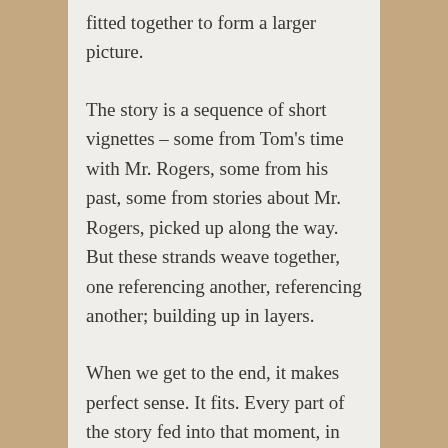fitted together to form a larger picture.
The story is a sequence of short vignettes – some from Tom's time with Mr. Rogers, some from his past, some from stories about Mr. Rogers, picked up along the way. But these strands weave together, one referencing another, referencing another; building up in layers.
When we get to the end, it makes perfect sense. It fits. Every part of the story fed into that moment, in the same way it feels like all of Tom's time with